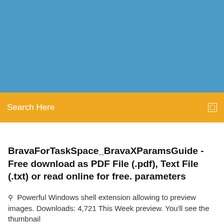[Figure (illustration): Blue banner header area at the top of a webpage]
Search Here
BravaForTaskSpace_BravaXParamsGuide - Free download as PDF File (.pdf), Text File (.txt) or read online for free. parameters
Powerful Windows shell extension allowing to preview images. Downloads: 4,721 This Week preview. You'll see the thumbnail